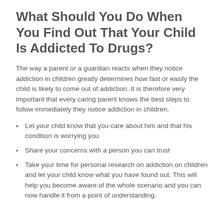What Should You Do When You Find Out That Your Child Is Addicted To Drugs?
The way a parent or a guardian reacts when they notice addiction in children greatly determines how fast or easily the child is likely to come out of addiction. It is therefore very important that every caring parent knows the best steps to follow immediately they notice addiction in children.
Let your child know that you care about him and that his condition is worrying you
Share your concerns with a person you can trust
Take your time for personal research on addiction on children and let your child know what you have found out. This will help you become aware of the whole scenario and you can now handle it from a point of understanding.